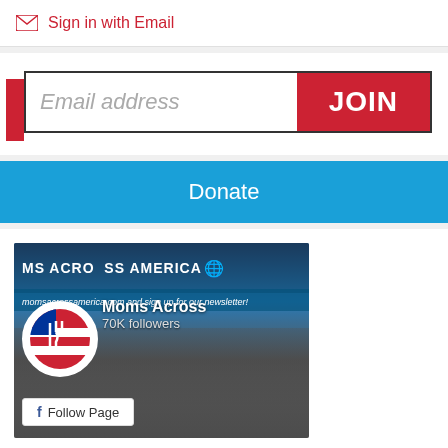Sign in with Email
[Figure (screenshot): Email address input field with JOIN button]
Donate
[Figure (screenshot): Facebook page widget for Moms Across America with 70K followers and Follow Page button]
[Figure (screenshot): Green button with text characters at bottom of page]